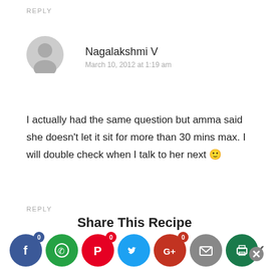REPLY
Nagalakshmi V
March 10, 2012 at 1:19 am
I actually had the same question but amma said she doesn't let it sit for more than 30 mins max. I will double check when I talk to her next 🙂
REPLY
Share This Recipe
[Figure (infographic): Social sharing buttons: Facebook, WhatsApp, Pinterest, Twitter, Google+, Email, Print]